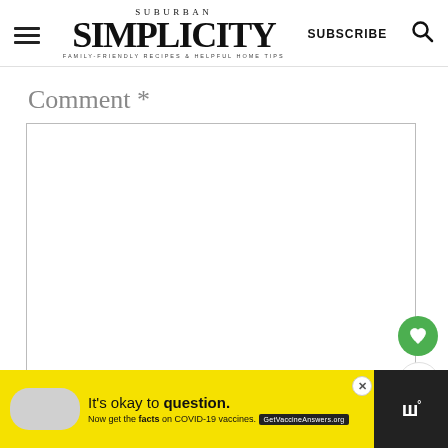Suburban Simplicity — Family-Friendly Recipes & Helpful Home Tips
Comment *
[Figure (screenshot): Empty comment text area input box with a light border]
[Figure (other): Floating heart button (green circle) and share button (white circle with border)]
It's okay to question. Now get the facts on COVID-19 vaccines. GetVaccineAnswers.org